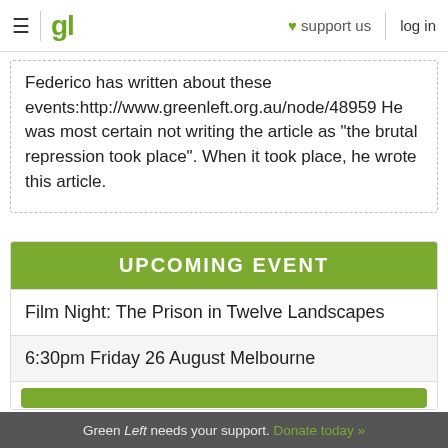≡ | gl ♥ support us | log in
Federico has written about these events:http://www.greenleft.org.au/node/48959 He was most certain not writing the article as "the brutal repression took place". When it took place, he wrote this article.
UPCOMING EVENT
Film Night: The Prison in Twelve Landscapes
6:30pm Friday 26 August Melbourne
Green Left needs your support. Donate today »